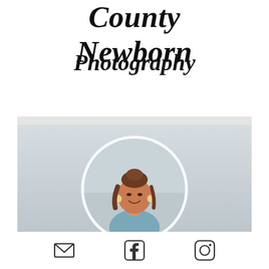County Newborn
Photography
[Figure (photo): Profile section with a header bar, a circular portrait photo of a woman with brown hair smiling, set against a light gray/muted background. Below are three social media icons: email, Facebook, and Instagram.]